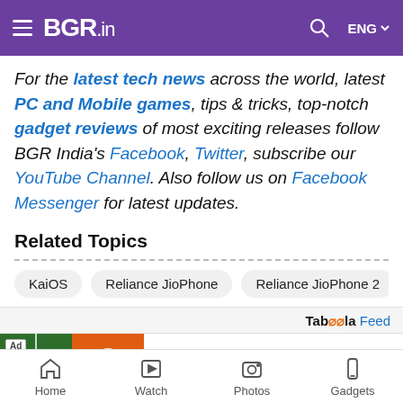BGR.in
For the latest tech news across the world, latest PC and Mobile games, tips & tricks, top-notch gadget reviews of most exciting releases follow BGR India’s Facebook, Twitter, subscribe our YouTube Channel. Also follow us on Facebook Messenger for latest updates.
Related Topics
KaiOS
Reliance JioPhone
Reliance JioPhone 2
[Figure (screenshot): Taboola Feed ad banner for BitLife - Life Simulator with Install button]
Home  Watch  Photos  Gadgets